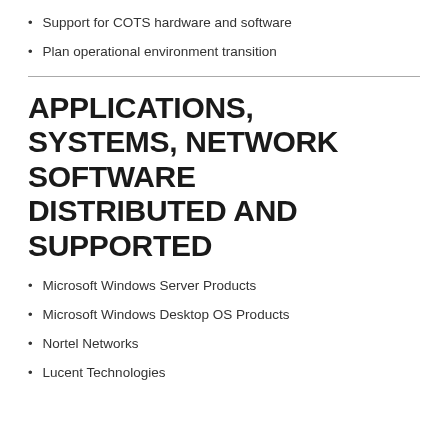Support for COTS hardware and software
Plan operational environment transition
APPLICATIONS, SYSTEMS, NETWORK SOFTWARE DISTRIBUTED AND SUPPORTED
Microsoft Windows Server Products
Microsoft Windows Desktop OS Products
Nortel Networks
Lucent Technologies